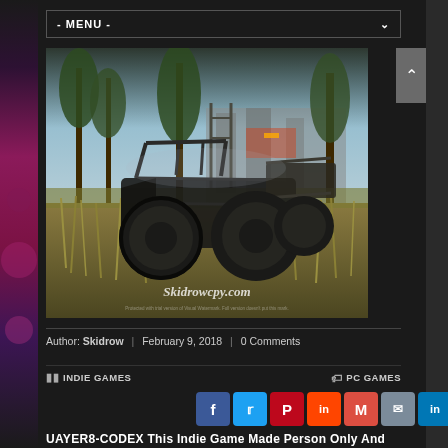- MENU -
[Figure (screenshot): Video game screenshot showing a post-apocalyptic off-road buggy vehicle with large tires in an overgrown environment with trees and abandoned structures. Watermark reads Skidrowcpy.com]
Author: Skidrow | February 9, 2018 | 0 Comments
INDIE GAMES   PC GAMES
[Figure (other): Social share buttons: Facebook, Twitter, Pinterest, Reddit, Gmail, Email, LinkedIn]
UAYER8-CODEX This Indie Game Made Person Only And